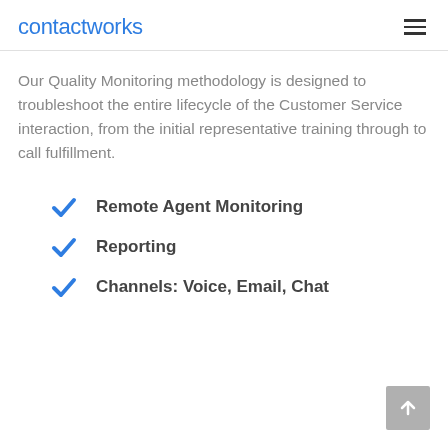contactworks
Our Quality Monitoring methodology is designed to troubleshoot the entire lifecycle of the Customer Service interaction, from the initial representative training through to call fulfillment.
Remote Agent Monitoring
Reporting
Channels: Voice, Email, Chat